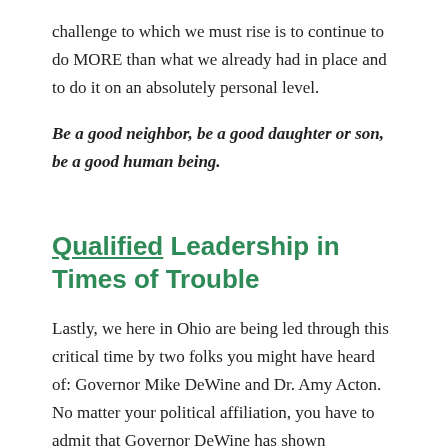challenge to which we must rise is to continue to do MORE than what we already had in place and to do it on an absolutely personal level.
Be a good neighbor, be a good daughter or son, be a good human being.
Qualified Leadership in Times of Trouble
Lastly, we here in Ohio are being led through this critical time by two folks you might have heard of: Governor Mike DeWine and Dr. Amy Acton. No matter your political affiliation, you have to admit that Governor DeWine has shown tremendous leadership.